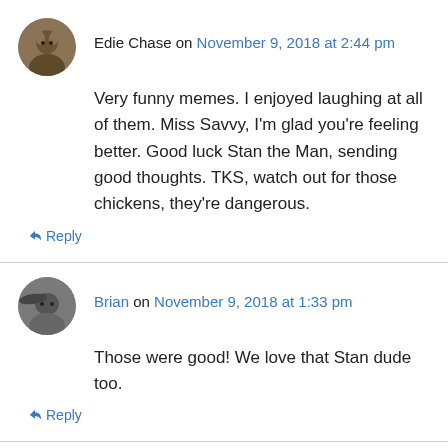Edie Chase on November 9, 2018 at 2:44 pm
Very funny memes. I enjoyed laughing at all of them. Miss Savvy, I'm glad you're feeling better. Good luck Stan the Man, sending good thoughts. TKS, watch out for those chickens, they're dangerous.
↳ Reply
Brian on November 9, 2018 at 1:33 pm
Those were good! We love that Stan dude too.
↳ Reply
Summer on November 9, 2018 at 9:37 am